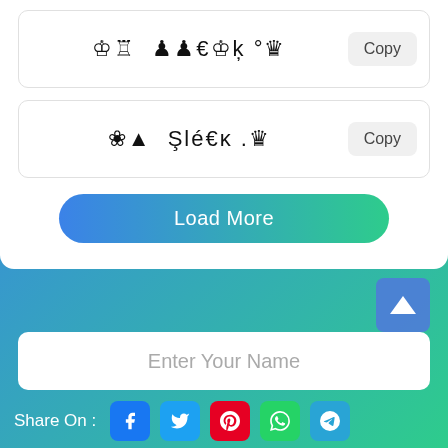♔♖  ♟♟€♔ķ °♛
Copy
❀▲  Şlé€κ .♛
Copy
Load More
Enter Your Name
Share On :